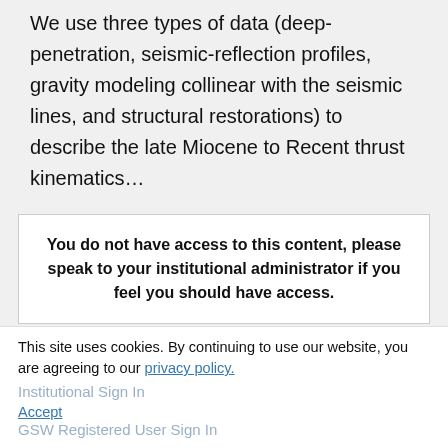We use three types of data (deep-penetration, seismic-reflection profiles, gravity modeling collinear with the seismic lines, and structural restorations) to describe the late Miocene to Recent thrust kinematics...
You do not have access to this content, please speak to your institutional administrator if you feel you should have access.
Shibboleth Sign In
OpenAthens Sign In
Institutional Sign In
GSW Registered User Sign In
This site uses cookies. By continuing to use our website, you are agreeing to our privacy policy. Accept